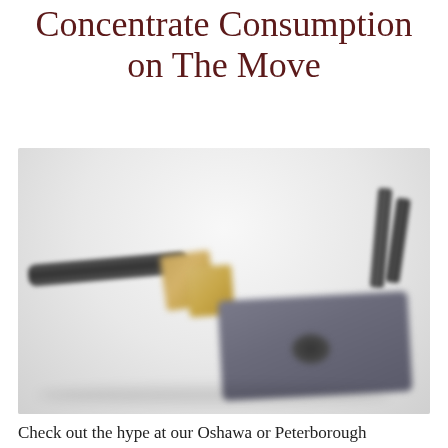Concentrate Consumption on The Move
[Figure (photo): A blurred product photo showing several dab tool accessories including a pen-like handle, gold/tan colored pieces, two upright cylindrical tools on the right, a flat dark gray platform with a circular recess at bottom right, all on a light gray background.]
Check out the hype at our Oshawa or Peterborough